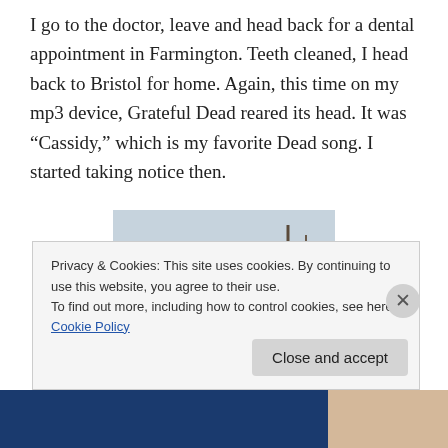I go to the doctor, leave and head back for a dental appointment in Farmington. Teeth cleaned, I head back to Bristol for home. Again, this time on my mp3 device, Grateful Dead reared its head. It was “Cassidy,” which is my favorite Dead song. I started taking notice then.
[Figure (photo): A man wearing a baseball cap smiling on what appears to be a dock or boat with masts visible in the background, overcast sky.]
Privacy & Cookies: This site uses cookies. By continuing to use this website, you agree to their use.
To find out more, including how to control cookies, see here: Cookie Policy
Close and accept